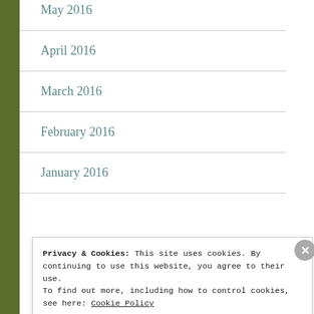May 2016
April 2016
March 2016
February 2016
January 2016
- Categories -
Privacy & Cookies: This site uses cookies. By continuing to use this website, you agree to their use. To find out more, including how to control cookies, see here: Cookie Policy
Close and accept